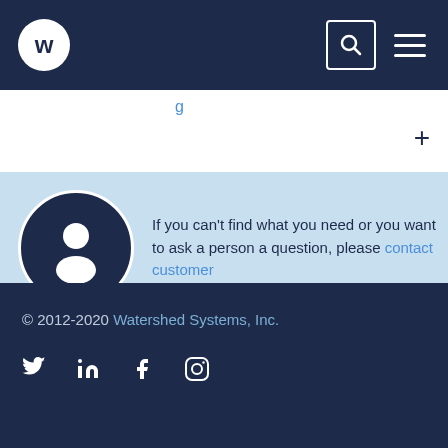[Figure (screenshot): Navigation bar with Watershed Systems logo (white W on dark navy circle), a search icon in a box, and a hamburger menu icon on dark navy background]
If you can't find what you need or you want to ask a person a question, please contact customer
© 2012-2020 Watershed Systems, Inc.